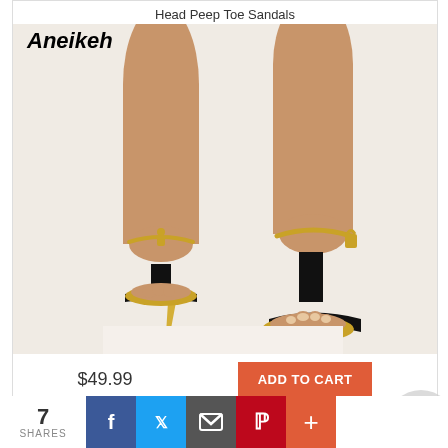Head Peep Toe Sandals
Aneikeh
[Figure (photo): Product photo of black high-heel peep toe sandals with gold metal stiletto heels and gold chain ankle bracelets with padlock charms, shown on a model's legs, two views side by side]
$49.99
ADD TO CART
Add to Wish List
Add to Compare
7 SHARES